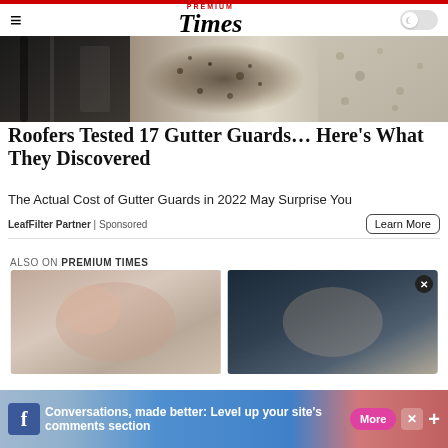Premium Times
[Figure (photo): Close-up photo of dirty gutter with debris, shown from multiple angles]
Roofers Tested 17 Gutter Guards… Here's What They Discovered
The Actual Cost of Gutter Guards in 2022 May Surprise You
LeafFilter Partner | Sponsored
Learn More
ALSO ON PREMIUM TIMES
[Figure (photo): Two thumbnail images for related Premium Times articles]
Conversations, made better: Level up your site's comments section